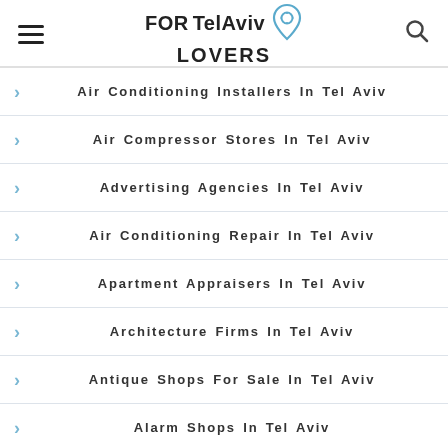FOR Tel Aviv LOVERS
Air Conditioning Installers In Tel Aviv
Air Compressor Stores In Tel Aviv
Advertising Agencies In Tel Aviv
Air Conditioning Repair In Tel Aviv
Apartment Appraisers In Tel Aviv
Architecture Firms In Tel Aviv
Antique Shops For Sale In Tel Aviv
Alarm Shops In Tel Aviv